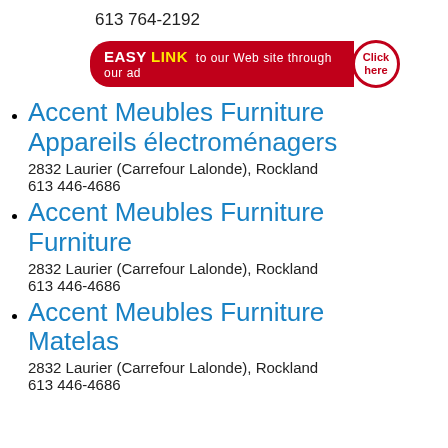613 764-2192
[Figure (other): Easy Link red banner advertisement with 'EASY LINK to our Web site through our ad' text and a circular 'Click here' button]
Accent Meubles Furniture
Appareils électroménagers
2832 Laurier (Carrefour Lalonde), Rockland
613 446-4686
Accent Meubles Furniture
Furniture
2832 Laurier (Carrefour Lalonde), Rockland
613 446-4686
Accent Meubles Furniture
Matelas
2832 Laurier (Carrefour Lalonde), Rockland
613 446-4686